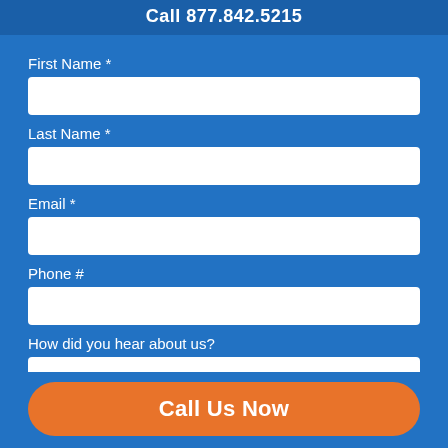Call 877.842.5215
First Name *
Last Name *
Email *
Phone #
How did you hear about us?
What is hurting your credit?
Call Us Now